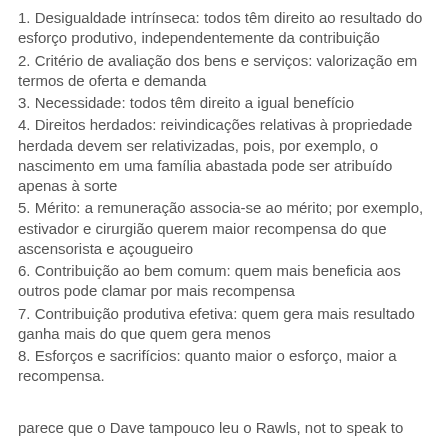1. Desigualdade intrínseca: todos têm direito ao resultado do esforço produtivo, independentemente da contribuição
2. Critério de avaliação dos bens e serviços: valorização em termos de oferta e demanda
3. Necessidade: todos têm direito a igual benefício
4. Direitos herdados: reivindicações relativas à propriedade herdada devem ser relativizadas, pois, por exemplo, o nascimento em uma família abastada pode ser atribuído apenas à sorte
5. Mérito: a remuneração associa-se ao mérito; por exemplo, estivador e cirurgião querem maior recompensa do que ascensorista e açougueiro
6. Contribuição ao bem comum: quem mais beneficia aos outros pode clamar por mais recompensa
7. Contribuição produtiva efetiva: quem gera mais resultado ganha mais do que quem gera menos
8. Esforços e sacrifícios: quanto maior o esforço, maior a recompensa.
parece que o Dave tampouco leu o Rawls, not to speak to